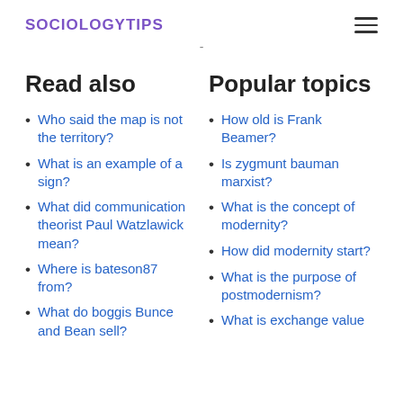SOCIOLOGYTIPS
-
Read also
Who said the map is not the territory?
What is an example of a sign?
What did communication theorist Paul Watzlawick mean?
Where is bateson87 from?
What do boggis Bunce and Bean sell?
Popular topics
How old is Frank Beamer?
Is zygmunt bauman marxist?
What is the concept of modernity?
How did modernity start?
What is the purpose of postmodernism?
What is exchange value